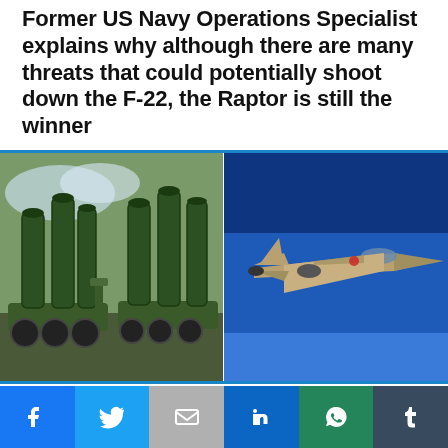Former US Navy Operations Specialist explains why although there are many threats that could potentially shoot down the F-22, the Raptor is still the winner
[Figure (photo): Split image: left side shows S-400 surface-to-air missile launcher system (green military vehicle with vertical launch tubes) in an outdoor setting; right side shows an F-16 fighter jet in flight against a clear blue sky.]
This website uses cookies.
Social share bar with Facebook, Twitter, Gmail/Email, LinkedIn, WhatsApp, and Tumblr icons